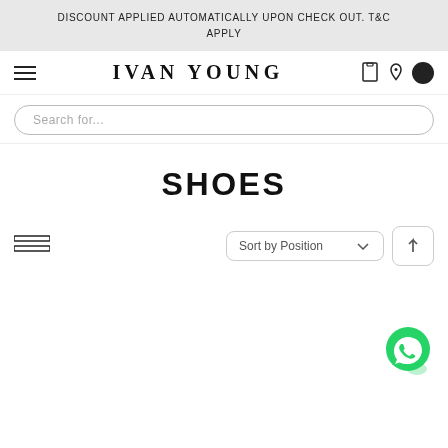DISCOUNT APPLIED AUTOMATICALLY UPON CHECK OUT. T&C APPLY
IVAN YOUNG
[Figure (screenshot): Search bar with placeholder text 'Search for...']
SHOES
[Figure (screenshot): Sort toolbar with 'Sort by Position' dropdown and up arrow button, plus list view icon on left]
[Figure (other): Green WhatsApp phone button in bottom right corner]